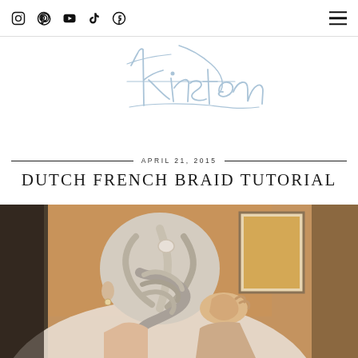Social icons: Instagram, Pinterest, YouTube, TikTok, Facebook; hamburger menu
kirsten (logo/signature)
APRIL 21, 2015
DUTCH FRENCH BRAID TUTORIAL
[Figure (photo): Photo of a woman from behind with silver/blonde hair in a Dutch French braid, hands visible braiding the hair, warm brown background]